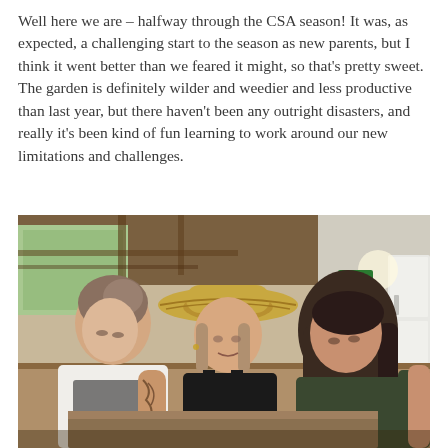Well here we are – halfway through the CSA season! It was, as expected, a challenging start to the season as new parents, but I think it went better than we feared it might, so that's pretty sweet. The garden is definitely wilder and weedier and less productive than last year, but there haven't been any outright disasters, and really it's been kind of fun learning to work around our new limitations and challenges.
[Figure (photo): Three young women leaning over and looking down at something on a table inside a barn or workshop space. The woman on the left wears a white t-shirt and has a tattoo on her arm. The woman in the center wears a straw hat and a black tank top. The woman on the right has long dark hair and wears a dark green top. The background shows wooden beams, large windows with natural light, and a white refrigerator.]